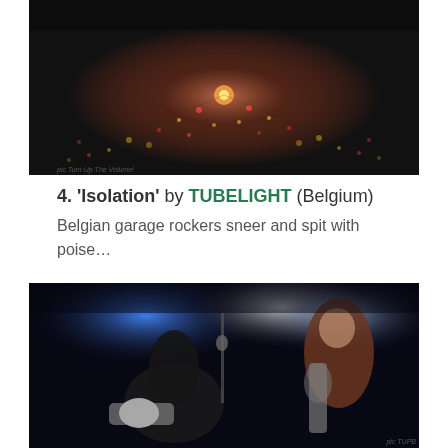[Figure (photo): Concert stage floor viewed from above with scattered lights and colorful debris across a dark floor with a glowing center.]
pic Turn Up The Volume!
4. 'Isolation' by TUBELIGHT (Belgium)
Belgian garage rockers sneer and spit with poise…
[Figure (photo): Two guitarists performing on a dark stage with blue and white stage lighting. One leans forward over guitar, the other stands right with a guitar.]
pic TUPB